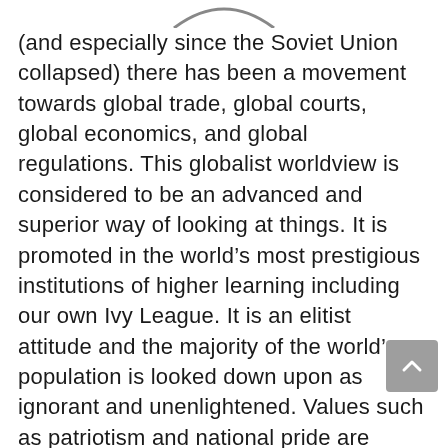[Figure (illustration): Partial arc/smile graphic at the top center of the page, grey outline]
(and especially since the Soviet Union collapsed) there has been a movement towards global trade, global courts, global economics, and global regulations. This globalist worldview is considered to be an advanced and superior way of looking at things. It is promoted in the world’s most prestigious institutions of higher learning including our own Ivy League. It is an elitist attitude and the majority of the world’s population is looked down upon as ignorant and unenlightened. Values such as patriotism and national pride are considered to be passé. Just like religion, anything less than a global attitude is considered to be ‘the opiate of the masses.’